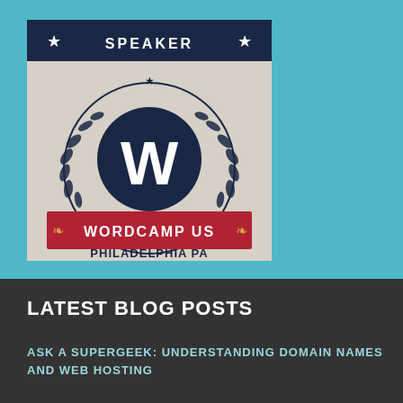[Figure (illustration): WordCamp US Speaker badge showing WordPress logo with laurel wreath, red banner reading WORDCAMP US, text PHILADELPHIA PA DECEMBER 2ND-4TH 2016 on a light background with dark navy header bar showing SPEAKER with stars]
LATEST BLOG POSTS
ASK A SUPERGEEK: UNDERSTANDING DOMAIN NAMES AND WEB HOSTING